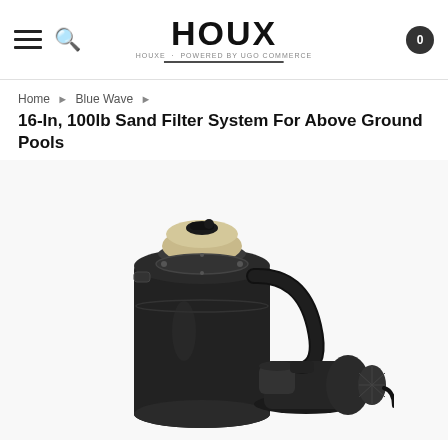HOUX — HOUXE powered by UGO COMMERCE
Home › Blue Wave › 16-In, 100lb Sand Filter System For Above Ground Pools
16-In, 100lb Sand Filter System For Above Ground Pools
[Figure (photo): A black 16-inch sand filter system for above ground pools. The unit consists of a tall cylindrical black tank with a multi-port valve on top featuring a beige/cream lid, connected by a curved black hose to a pump motor assembly at the bottom right. The equipment is photographed against a white background.]